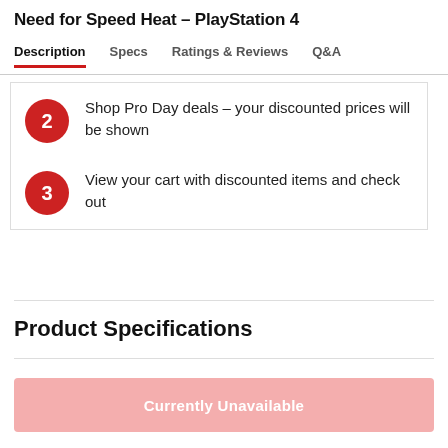Need for Speed Heat – PlayStation 4
Description | Specs | Ratings & Reviews | Q&A
Shop Pro Day deals – your discounted prices will be shown
View your cart with discounted items and check out
Product Specifications
Currently Unavailable